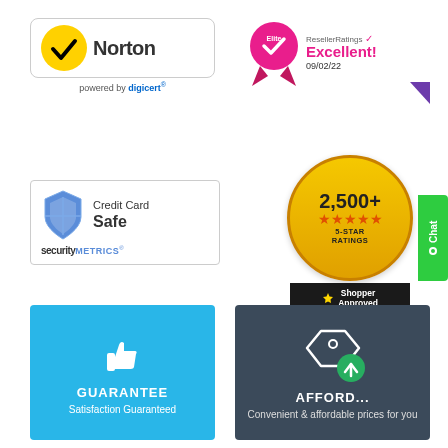[Figure (logo): Norton powered by DigiCert security badge with yellow circle checkmark logo]
[Figure (logo): ResellerRatings Excellent! Elite badge dated 09/02/22 with pink medal and purple arrow]
[Figure (logo): SecurityMetrics Credit Card Safe badge with blue shield icon]
[Figure (logo): Shopper Approved 2,500+ 5-Star Ratings badge with gold circle and black ribbon]
[Figure (logo): Green Chat button on right edge]
[Figure (infographic): Blue GUARANTEE box with thumbs up icon and text Satisfaction Guaranteed]
[Figure (infographic): Dark blue AFFORDABILITY box with tag and green upward arrow icon and text Convenient & affordable prices for you]